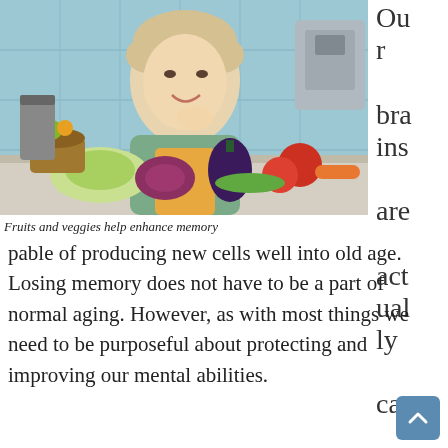[Figure (photo): A smiling middle-aged woman with blonde hair wearing a yellow apron and blue shirt, leaning on a kitchen counter surrounded by fresh vegetables including tomatoes, eggplant, cucumber, lettuce, and radicchio. A coffee machine and fruit basket are visible in the background.]
Fruits and veggies help enhance memory
Our brains are actually ca
pable of producing new cells well into old age. Losing memory does not have to be a part of normal aging. However, as with most things we need to be purposeful about protecting and improving our mental abilities.